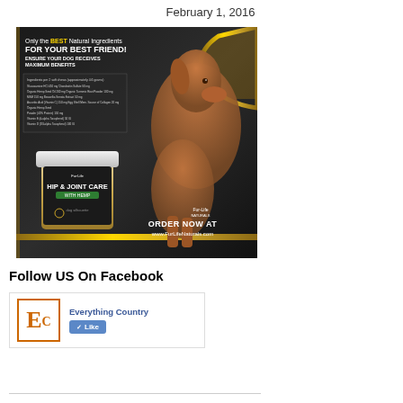February 1, 2016
[Figure (photo): Advertisement for Fur-Life Naturals Hip & Joint Care with Hemp dog supplement. Dark background with gold accents, a Vizsla dog, a supplement jar labeled HIP & JOINT CARE WITH HEMP, ingredients panel, and text reading: Only the BEST Natural Ingredients FOR YOUR BEST FRIEND! ENSURE YOUR DOG RECEIVES MAXIMUM BENEFITS. ORDER NOW AT www.FurLifeNaturals.com]
Follow US On Facebook
[Figure (logo): Everything Country Facebook page widget showing EC logo and Like button]